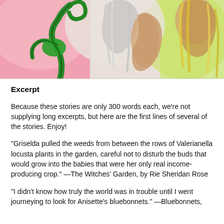[Figure (illustration): Comic-style illustration showing fantasy figures with green vine/plant element, silver-haired character, and colorful background]
Excerpt
Because these stories are only 300 words each, we're not supplying long excerpts, but here are the first lines of several of the stories. Enjoy!
"Griselda pulled the weeds from between the rows of Valerianella locusta plants in the garden, careful not to disturb the buds that would grow into the babies that were her only real income-producing crop." —The Witches' Garden, by Rie Sheridan Rose
"I didn't know how truly the world was in trouble until I went journeying to look for Anisette's bluebonnets." —Bluebonnets,